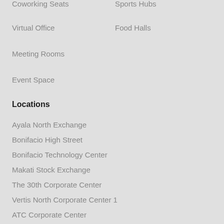Coworking Seats
Sports Hubs
Virtual Office
Food Halls
Meeting Rooms
Event Space
Locations
Ayala North Exchange
Bonifacio High Street
Bonifacio Technology Center
Makati Stock Exchange
The 30th Corporate Center
Vertis North Corporate Center 1
ATC Corporate Center
Company
About Us
Terms and Conditions
Privacy Notice